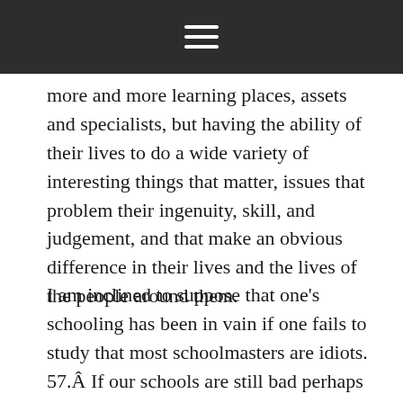☰
more and more learning places, assets and specialists, but having the ability of their lives to do a wide variety of interesting things that matter, issues that problem their ingenuity, skill, and judgement, and that make an obvious difference in their lives and the lives of the people around them.
I am inclined to suppose that one's schooling has been in vain if one fails to study that most schoolmasters are idiots. 57.Â If our schools are still bad perhaps we must always declare instructional bankruptcy, give the people their money and let them educate themselves and start their very own